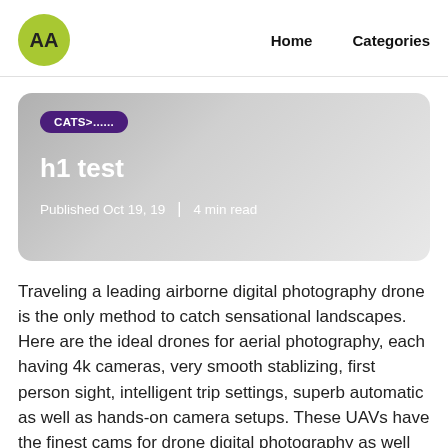AA  Home  Categories
[Figure (other): Article card with gradient grey background showing category badge 'CATS>......', title 'h1 test', and metadata 'Published Oct 19, 19 | 4 min read']
Traveling a leading airborne digital photography drone is the only method to catch sensational landscapes. Here are the ideal drones for aerial photography, each having 4k cameras, very smooth stablizing, first person sight, intelligent trip settings, superb automatic as well as hands-on camera setups. These UAVs have the finest cams for drone digital photography as well as all have a superb range